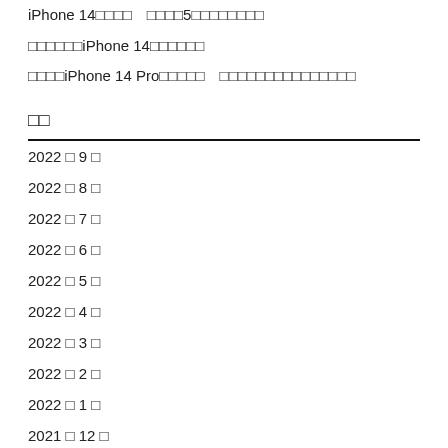iPhone 14□□□□　□□□□5□□□□□□□□
□□□□□□iPhone 14□□□□□□
□□□□iPhone 14 Pro□□□□□　□□□□□□□□□□□□□□□□
□□
2022 □ 9 □
2022 □ 8 □
2022 □ 7 □
2022 □ 6 □
2022 □ 5 □
2022 □ 4 □
2022 □ 3 □
2022 □ 2 □
2022 □ 1 □
2021 □ 12 □
2021 □ 11 □